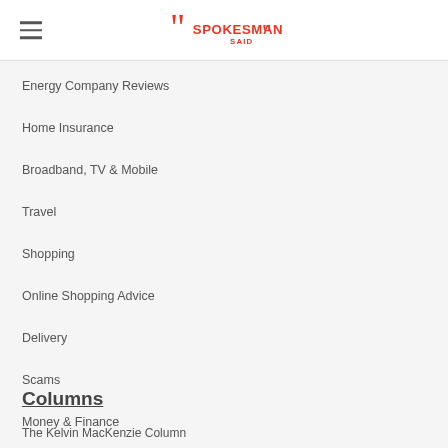A Spokesman Said
Energy Company Reviews
Home Insurance
Broadband, TV & Mobile
Travel
Shopping
Online Shopping Advice
Delivery
Scams
Money & Finance
Columns
The Kelvin MacKenzie Column